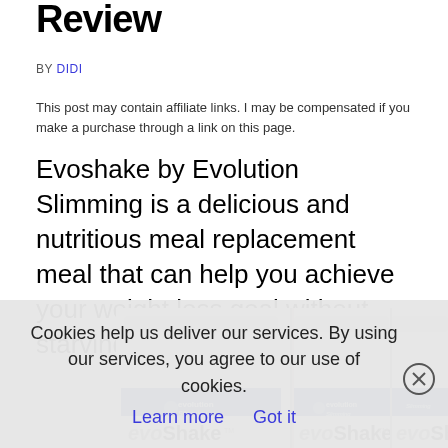Review
BY DIDI
This post may contain affiliate links. I may be compensated if you make a purchase through a link on this page.
Evoshake by Evolution Slimming is a delicious and nutritious meal replacement meal that can help you achieve your weight loss goal without starving yourself.
[Figure (photo): Three white tubs of evoShake by Evolution Slimming meal replacement shake, showing the blue branded label with the product name evoShake]
Cookies help us deliver our services. By using our services, you agree to our use of cookies. Learn more   Got it